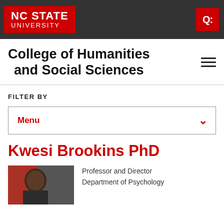NC STATE UNIVERSITY
College of Humanities and Social Sciences
FILTER BY
Menu
Kwesi Brookins PhD
[Figure (photo): Headshot photo of Kwesi Brookins]
Professor and Director
Department of Psychology